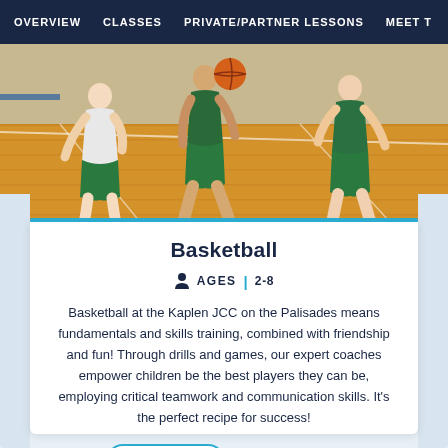OVERVIEW   CLASSES   PRIVATE/PARTNER LESSONS   MEET T
[Figure (photo): Children playing basketball on an indoor court, wearing green shorts and white/green shirts, dribbling an orange basketball]
Basketball
AGES | 2-8
Basketball at the Kaplen JCC on the Palisades means fundamentals and skills training, combined with friendship and fun! Through drills and games, our expert coaches empower children be the best players they can be, employing critical teamwork and communication skills. It's the perfect recipe for success!
REGISTER   LEARN MORE >